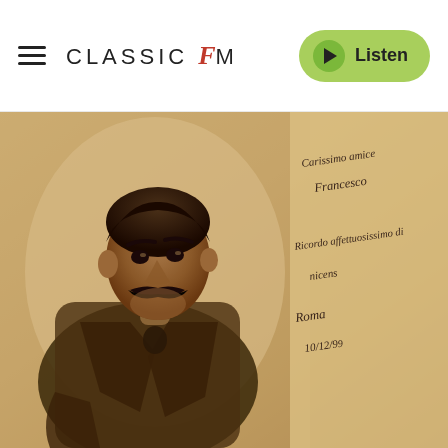CLASSIC FM — Listen
[Figure (photo): Sepia-toned antique photograph of a man with a mustache wearing a jacket, with handwritten Italian script text overlaid on the right side of the image, appearing to be an old signed portrait photo. The handwriting appears to read 'Carissimo amice Francesco / Ricordo affettuosissimo di nicens / Roma 10/12/9[?]']